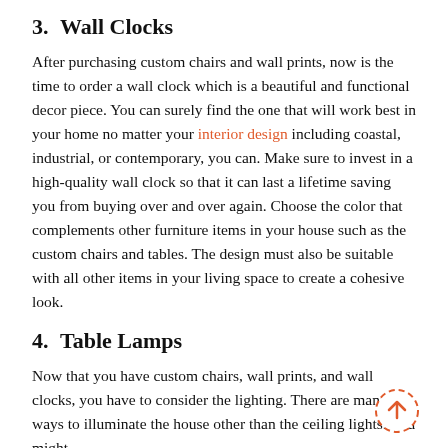3.   Wall Clocks
After purchasing custom chairs and wall prints, now is the time to order a wall clock which is a beautiful and functional decor piece. You can surely find the one that will work best in your home no matter your interior design including coastal, industrial, or contemporary, you can. Make sure to invest in a high-quality wall clock so that it can last a lifetime saving you from buying over and over again. Choose the color that complements other furniture items in your house such as the custom chairs and tables. The design must also be suitable with all other items in your living space to create a cohesive look.
4.   Table Lamps
Now that you have custom chairs, wall prints, and wall clocks, you have to consider the lighting. There are many ways to illuminate the house other than the ceiling lights. You might